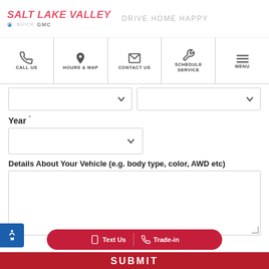SALT LAKE VALLEY Buick GMC — DRIVE HOME HAPPY
CALL US | HOURS & MAP | CONTACT US | SCHEDULE SERVICE | MENU
Year *
Details About Your Vehicle (e.g. body type, color, AWD etc)
SUBMIT